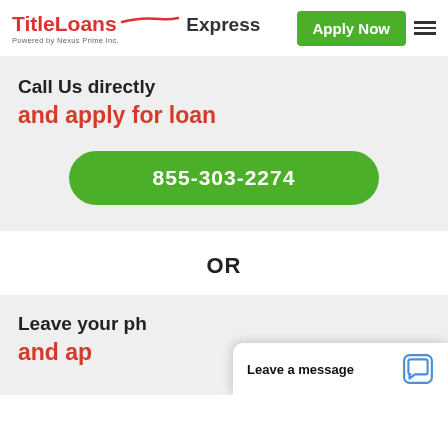[Figure (logo): TitleLoans Express logo with red TitleLoans and gray Express text, powered by Nexus Prime Inc.]
Apply Now
Call Us directly
and apply for loan
855-303-2274
OR
Leave your ph...
Leave a message